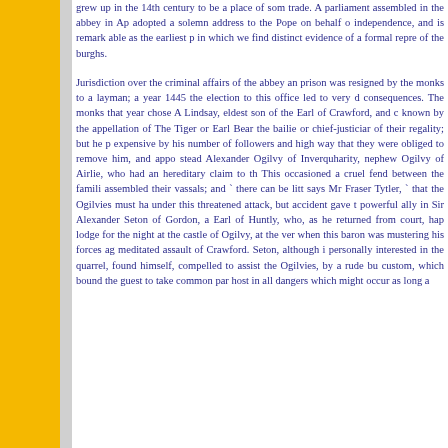grew up in the 14th century to be a place of some trade. A parliament assembled in the abbey in Ap adopted a solemn address to the Pope on behalf o independence, and is remark able as the earliest p in which we find distinct evidence of a formal repre of the burghs.
Jurisdiction over the criminal affairs of the abbey an prison was resigned by the monks to a layman; a year 1445 the election to this office led to very d consequences. The monks that year chose A Lindsay, eldest son of the Earl of Crawford, and c known by the appellation of The Tiger or Earl Bear the bailie or chief-justiciar of their regality; but he p expensive by his number of followers and high way that they were obliged to remove him, and appo stead Alexander Ogilvy of Inverquharity, nephew Ogilvy of Airlie, who had an hereditary claim to th This occasioned a cruel fend between the famili assembled their vassals; and ` there can be litt says Mr Fraser Tytler, ` that the Ogilvies must ha under this threatened attack, but accident gave t powerful ally in Sir Alexander Seton of Gordon, a Earl of Huntly, who, as he returned from court, hap lodge for the night at the castle of Ogilvy, at the ver when this baron was mustering his forces ag meditated assault of Crawford. Seton, although i personally interested in the quarrel, found himself, compelled to assist the Ogilvies, by a rude bu custom, which bound the guest to take common par host in all dangers which might occur as long a